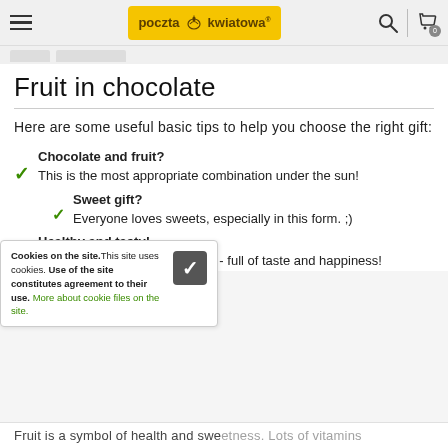poczta kwiatowa — navigation header with search and cart icons
Fruit in chocolate
Here are some useful basic tips to help you choose the right gift:
Chocolate and fruit? This is the most appropriate combination under the sun!
Sweet gift? Everyone loves sweets, especially in this form. ;)
Healthy and tasty! Fruit - vitamin bomb, chocolate - full of taste and happiness!
Cookies on the site. This site uses cookies. Use of the site constitutes agreement to their use. More about cookie files on the site.
Fruit is a symbol of health and sweetness. Lots of vitamins